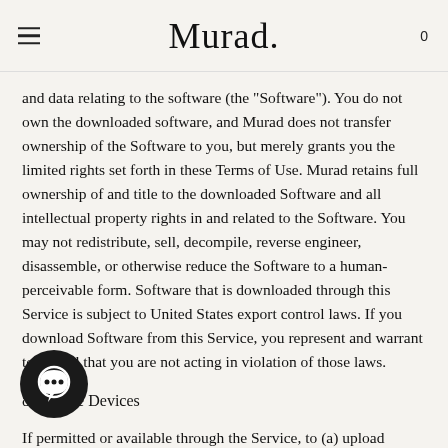Murad.
and data relating to the software (the "Software"). You do not own the downloaded software, and Murad does not transfer ownership of the Software to you, but merely grants you the limited rights set forth in these Terms of Use. Murad retains full ownership of and title to the downloaded Software and all intellectual property rights in and related to the Software. You may not redistribute, sell, decompile, reverse engineer, disassemble, or otherwise reduce the Software to a human-perceivable form. Software that is downloaded through this Service is subject to United States export control laws. If you download Software from this Service, you represent and warrant to Murad that you are not acting in violation of those laws.
8. Mobile Devices
If permitted or available through the Service, to (a) upload content to the Service via your mobile device and/or tablet, (b) receive and reply to messages, or to access or make posts using text messaging, (c) browse the Service from your mobile device and/or